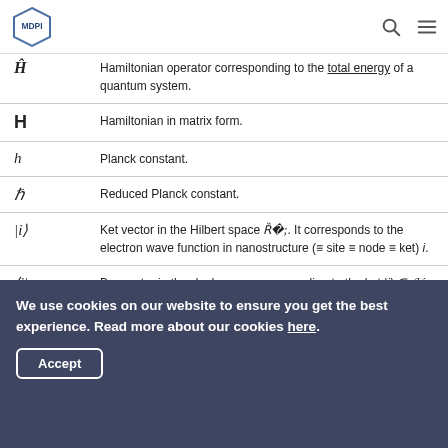MDPI
| Symbol | Description |
| --- | --- |
| Ĥ | Hamiltonian operator corresponding to the total energy of a quantum system. |
| H | Hamiltonian in matrix form. |
| h | Planck constant. |
| ℏ | Reduced Planck constant. |
| |i⟩ | Ket vector in the Hilbert space H. It corresponds to the electron wave function in nanostructure (≡ site ≡ node ≡ ket) i. |
| ⟨i| | Bra vector in the dual space corresponding to the ket |i⟩ ∈ H |
We use cookies on our website to ensure you get the best experience. Read more about our cookies here.
Accept